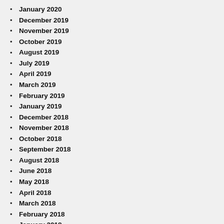January 2020
December 2019
November 2019
October 2019
August 2019
July 2019
April 2019
March 2019
February 2019
January 2019
December 2018
November 2018
October 2018
September 2018
August 2018
June 2018
May 2018
April 2018
March 2018
February 2018
January 2018
December 2017
November 2017
October 2017
September 2017